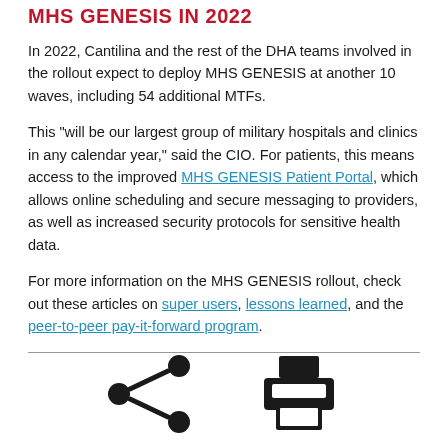MHS GENESIS IN 2022
In 2022, Cantilina and the rest of the DHA teams involved in the rollout expect to deploy MHS GENESIS at another 10 waves, including 54 additional MTFs.
This "will be our largest group of military hospitals and clinics in any calendar year," said the CIO. For patients, this means access to the improved MHS GENESIS Patient Portal, which allows online scheduling and secure messaging to providers, as well as increased security protocols for sensitive health data.
For more information on the MHS GENESIS rollout, check out these articles on super users, lessons learned, and the peer-to-peer pay-it-forward program.
[Figure (illustration): Share icon (three connected circles) and printer icon side by side at the bottom of the page]